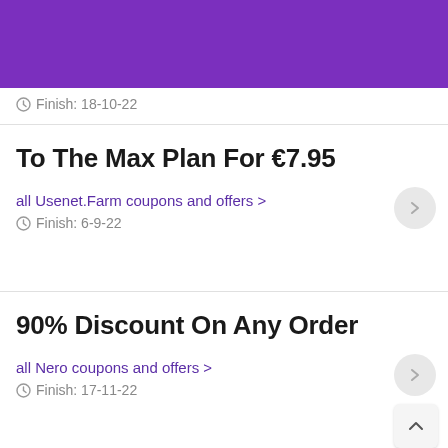Finish: 18-10-22
To The Max Plan For €7.95
all Usenet.Farm coupons and offers >
Finish: 6-9-22
90% Discount On Any Order
all Nero coupons and offers >
Finish: 17-11-22
Save 76% Discount On A...